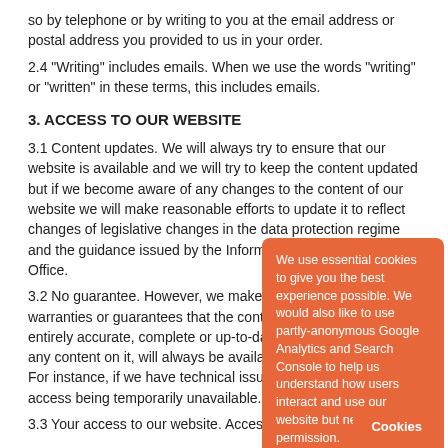so by telephone or by writing to you at the email address or postal address you provided to us in your order.
2.4 "Writing" includes emails. When we use the words "writing" or "written" in these terms, this includes emails.
3. ACCESS TO OUR WEBSITE
3.1 Content updates. We will always try to ensure that our website is available and we will try to keep the content updated but if we become aware of any changes to the content of our website we will make reasonable efforts to update it to reflect changes of legislative changes in the data protection regime and the guidance issued by the Information Commissioner's Office.
3.2 No guarantee. However, we make no representations, warranties or guarantees that the content on our website is entirely accurate, complete or up-to-date or that our website, or any content on it, will always be available or be uninterrupted. For instance, if we have technical issues, this may result in access being temporarily unavailable.
3.3 Your access to our website. Access to our website is
[Figure (screenshot): Cookie consent overlay in orange/red color with text about essential cookies and Google Analytics, with 'OPT IN TO ANALYTICS' and 'DECLINE' buttons, and a 'Cookies' button in the bottom right corner.]